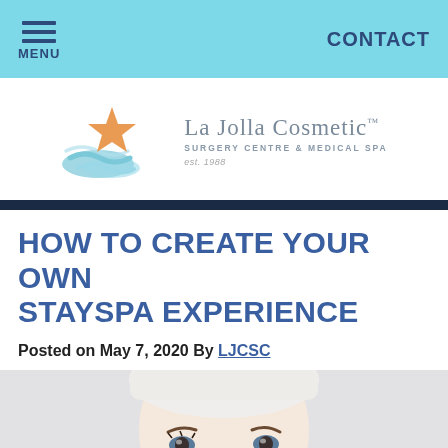MENU  CONTACT
[Figure (logo): La Jolla Cosmetic Surgery Centre & Medical Spa logo with starfish and waves, est. 1988]
HOW TO CREATE YOUR OWN STAYSPA EXPERIENCE
Posted on May 7, 2020 By LJCSC
[Figure (photo): Close-up photo of a woman with a white towel on her head, looking at camera, with a small numbered marker on her cheek]